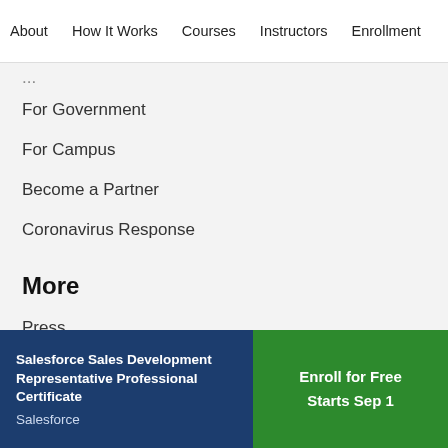About   How It Works   Courses   Instructors   Enrollment
For Government
For Campus
Become a Partner
Coronavirus Response
More
Press
Investors
Terms
Privacy
Salesforce Sales Development Representative Professional Certificate
Salesforce
Enroll for Free
Starts Sep 1